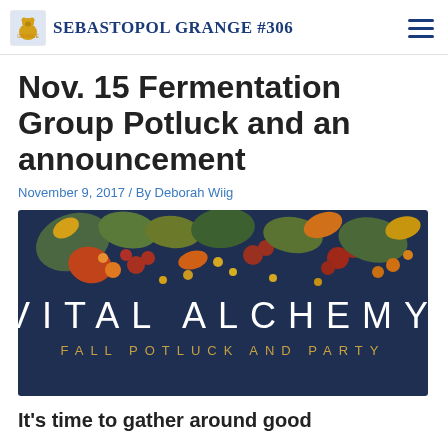Sebastopol Grange #306
Nov. 15 Fermentation Group Potluck and an announcement
November 9, 2017 / By Deborah Wiig
[Figure (illustration): Decorative banner image with dark navy background, autumn leaves in orange, red, olive green, and gold scattered across the top, with text reading 'VITAL ALCHEMY' in large white spaced letters and 'FALL POTLUCK AND PARTY' in smaller gold spaced letters below.]
It's time to gather around good